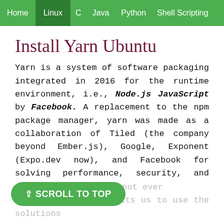Home  Linux  C  Java  Python  Shell Scripting
Install Yarn Ubuntu
Yarn is a system of software packaging integrated in 2016 for the runtime environment, i.e., Node.js JavaScript by Facebook. A replacement to the npm package manager, yarn was made as a collaboration of Tiled (the company beyond Ember.js), Google, Exponent (Expo.dev now), and Facebook for solving performance, security, and consistency problems with big codebases.
Yarn permits us to share and use code with other developers around the world. It does this job and quickly so we do not ever permits us to use the solutions